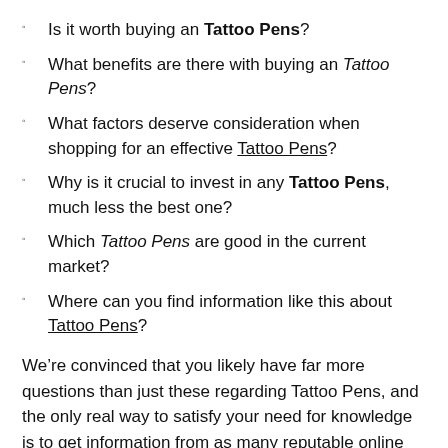Is it worth buying an Tattoo Pens?
What benefits are there with buying an Tattoo Pens?
What factors deserve consideration when shopping for an effective Tattoo Pens?
Why is it crucial to invest in any Tattoo Pens, much less the best one?
Which Tattoo Pens are good in the current market?
Where can you find information like this about Tattoo Pens?
We’re convinced that you likely have far more questions than just these regarding Tattoo Pens, and the only real way to satisfy your need for knowledge is to get information from as many reputable online sources as you possibly can.
Potential sources can include buying guides for